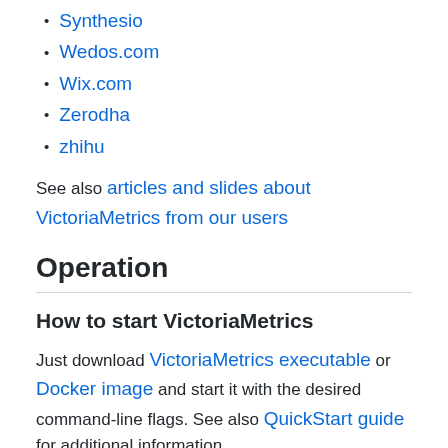Synthesio
Wedos.com
Wix.com
Zerodha
zhihu
See also articles and slides about VictoriaMetrics from our users
Operation
How to start VictoriaMetrics
Just download VictoriaMetrics executable or Docker image and start it with the desired command-line flags. See also QuickStart guide for additional information.
The following command-line flags are used the most: